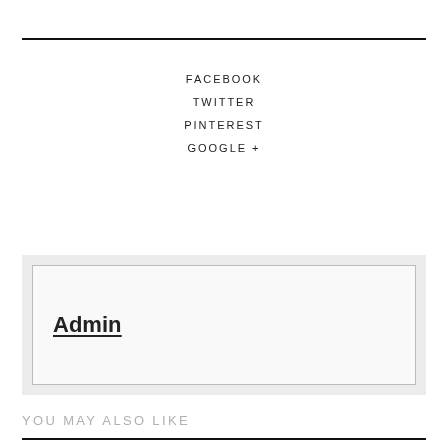FACEBOOK
TWITTER
PINTEREST
GOOGLE +
Admin
YOU MAY ALSO LIKE